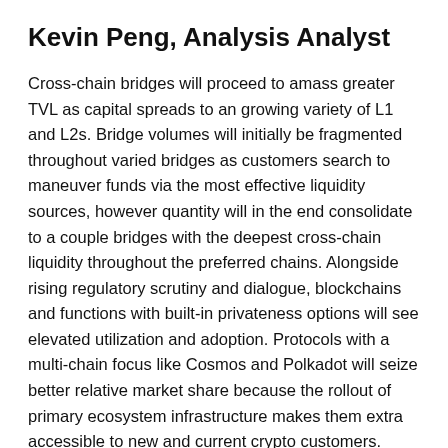Kevin Peng, Analysis Analyst
Cross-chain bridges will proceed to amass greater TVL as capital spreads to an growing variety of L1 and L2s. Bridge volumes will initially be fragmented throughout varied bridges as customers search to maneuver funds via the most effective liquidity sources, however quantity will in the end consolidate to a couple bridges with the deepest cross-chain liquidity throughout the preferred chains. Alongside rising regulatory scrutiny and dialogue, blockchains and functions with built-in privateness options will see elevated utilization and adoption. Protocols with a multi-chain focus like Cosmos and Polkadot will seize better relative market share because the rollout of primary ecosystem infrastructure makes them extra accessible to new and current crypto customers. Crypto turns into extra mainstream than ever as NFTs see fast adoption from